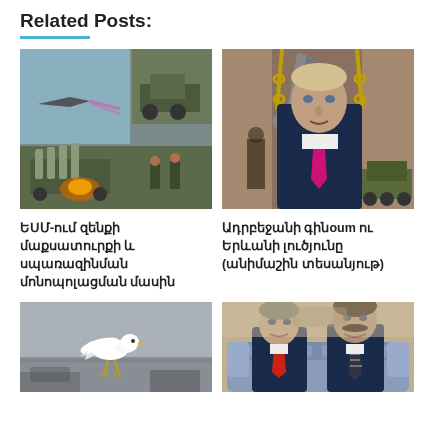Related Posts:
[Figure (photo): Military vehicles and aircraft collage including fighter jets, military trucks, and missile launchers]
ԵՍՄ-ում զենքի մաքսատուրքի և սպառազինման մոնոպոլացման մասին
[Figure (photo): Vladimir Putin holding large scissors with chains and tanks in background]
Ադրբեջանի գինoum ու Երևանի լուծյունը (անիմաշին տեսանյութ)
[Figure (photo): White dove standing on pavement with background blur]
[Figure (photo): Two men in suits sitting on a couch, smiling]